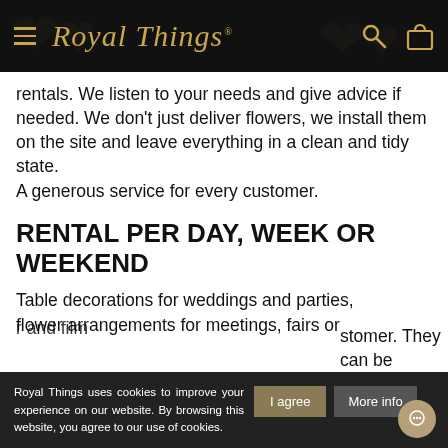Royal Things
rentals. We listen to your needs and give advice if needed. We don't just deliver flowers, we install them on the site and leave everything in a clean and tidy state.
A generous service for every customer.
RENTAL PER DAY, WEEK OR WEEKEND
Table decorations for weddings and parties, flower arrangements for meetings, fairs or
Royal Things uses cookies to improve your experience on our website. By browsing this website, you agree to our use of cookies.
I agree
More info